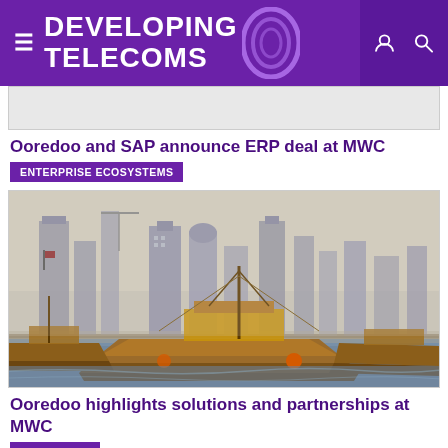DEVELOPING TELECOMS
[Figure (photo): Partial image of article about Ooredoo and SAP ERP deal, image mostly cropped out]
Ooredoo and SAP announce ERP deal at MWC
ENTERPRISE ECOSYSTEMS
[Figure (photo): Photo of traditional wooden dhow boats on water with Doha Qatar skyline and skyscrapers in background under hazy sky]
Ooredoo highlights solutions and partnerships at MWC
OPERATORS